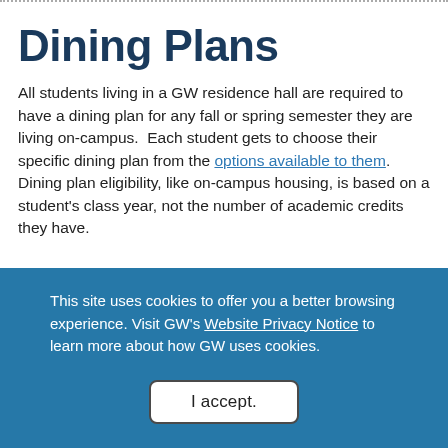Dining Plans
All students living in a GW residence hall are required to have a dining plan for any fall or spring semester they are living on-campus.  Each student gets to choose their specific dining plan from the options available to them. Dining plan eligibility, like on-campus housing, is based on a student's class year, not the number of academic credits they have.
This site uses cookies to offer you a better browsing experience. Visit GW's Website Privacy Notice to learn more about how GW uses cookies.